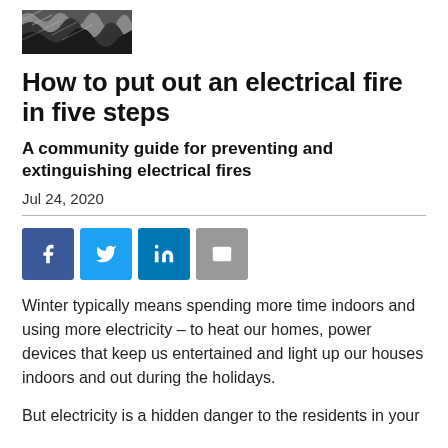[Figure (photo): Partial image of flames or fire, black and white, cropped at top of page]
How to put out an electrical fire in five steps
A community guide for preventing and extinguishing electrical fires
Jul 24, 2020
[Figure (infographic): Social media sharing buttons: Facebook, Twitter, LinkedIn, Email]
Winter typically means spending more time indoors and using more electricity – to heat our homes, power devices that keep us entertained and light up our houses indoors and out during the holidays.
But electricity is a hidden danger to the residents in your